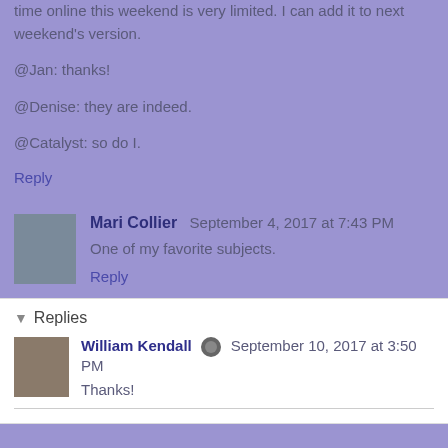time online this weekend is very limited. I can add it to next weekend's version.
@Jan: thanks!
@Denise: they are indeed.
@Catalyst: so do I.
Reply
Mari Collier  September 4, 2017 at 7:43 PM
One of my favorite subjects.
Reply
Replies
William Kendall  September 10, 2017 at 3:50 PM
Thanks!